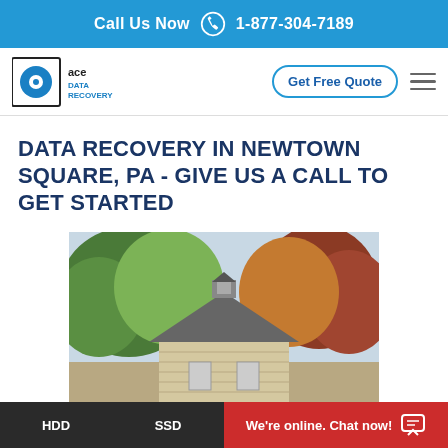Call Us Now  1-877-304-7189
[Figure (logo): Ace Data Recovery logo with circular disc icon and text 'ace data recovery']
Get Free Quote
DATA RECOVERY IN NEWTOWN SQUARE, PA - GIVE US A CALL TO GET STARTED
[Figure (photo): Photo of a historic octagonal stone building with a cupola, surrounded by autumn trees]
HDD   SSD   We're online. Chat now!